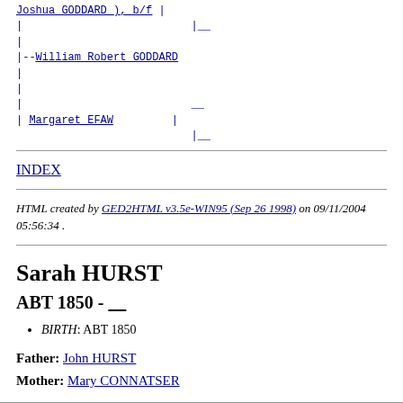Joshua GODDARD ), b/f
|
|
|--William Robert GODDARD
|
|
| Margaret EFAW |
INDEX
HTML created by GED2HTML v3.5e-WIN95 (Sep 26 1998) on 09/11/2004 05:56:34 .
Sarah HURST
ABT 1850 - ____
BIRTH: ABT 1850
Father: John HURST
Mother: Mary CONNATSER